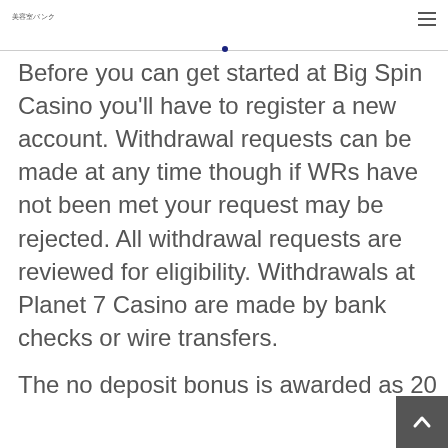美容室バンク
Before you can get started at Big Spin Casino you'll have to register a new account. Withdrawal requests can be made at any time though if WRs have not been met your request may be rejected. All withdrawal requests are reviewed for eligibility. Withdrawals at Planet 7 Casino are made by bank checks or wire transfers.
The no deposit bonus is awarded as 20... are made by continuing to C$0.05...